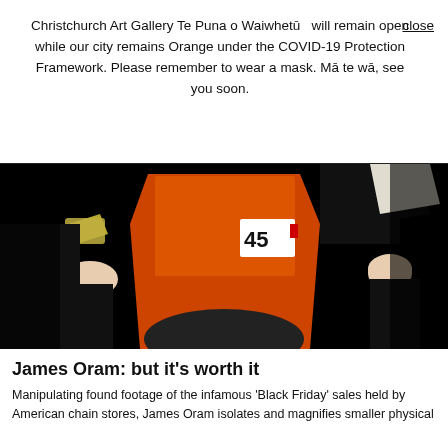Christchurch Art Gallery Te Puna o Waiwhetū will remain open while our city remains Orange under the COVID-19 Protection Framework. Please remember to wear a mask. Mā te wā, see you soon.
[Figure (photo): Dark photo showing hands and an orange object (likely a shopping cart or store display) with a '45' label visible, against a black background — appears to be found footage from Black Friday sales.]
James Oram: but it's worth it
Manipulating found footage of the infamous 'Black Friday' sales held by American chain stores, James Oram isolates and magnifies smaller physical